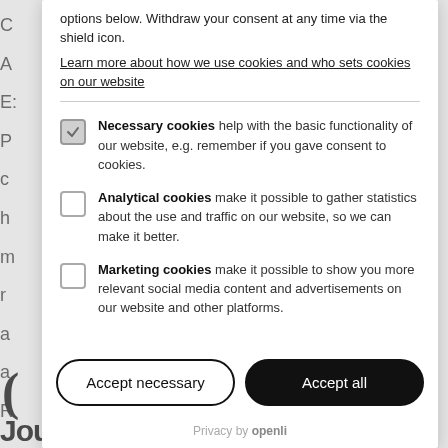options below. Withdraw your consent at any time via the shield icon.
Learn more about how we use cookies and who sets cookies on our website
Necessary cookies help with the basic functionality of our website, e.g. remember if you gave consent to cookies.
Analytical cookies make it possible to gather statistics about the use and traffic on our website, so we can make it better.
Marketing cookies make it possible to show you more relevant social media content and advertisements on our website and other platforms.
Accept necessary
Accept all
Privacy by openli